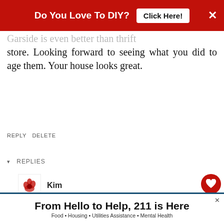[Figure (other): Red advertisement banner at top: 'Do You Love To DIY? Click Here!' with close X button]
Garside is even better than thrift store. Looking forward to seeing what you did to age them. Your house looks great.
REPLY DELETE
▾  REPLIES
Kim
OCTOBER 13, 2017 AT 11:09 AM
Thanks so much, Lorri! I love those crates, too... a secret to share about them...soon!! Have a great
[Figure (other): What's Next card showing a thumbnail of a room with text 'Sneak Peek ~ A Friendly...']
[Figure (other): Bottom advertisement banner: 'From Hello to Help, 211 is Here' with subtitle 'Food • Housing • Utilities Assistance • Mental Health']